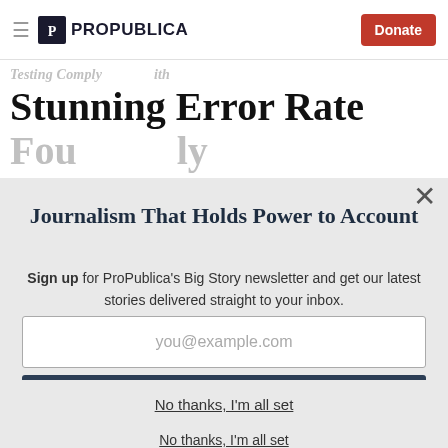ProPublica — Donate
Stunning Error Rate
Journalism That Holds Power to Account
Sign up for ProPublica's Big Story newsletter and get our latest stories delivered straight to your inbox.
you@example.com
Get the Newsletter
No thanks, I'm all set
This site is protected by reCAPTCHA and the Google Privacy Policy and Terms of Service apply.